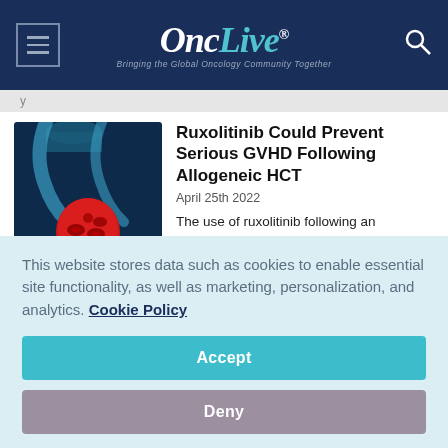OncLive® — Bringing the Global Oncology Community Together
[Figure (illustration): Medical illustration of a blood drop with red blood cells, blue tubing on dark blue background]
Ruxolitinib Could Prevent Serious GVHD Following Allogeneic HCT
April 25th 2022
The use of ruxolitinib following an allogeneic hematopoietic cell transplantation was associated with
This website stores data such as cookies to enable essential site functionality, as well as marketing, personalization, and analytics. Cookie Policy
Accept
Deny